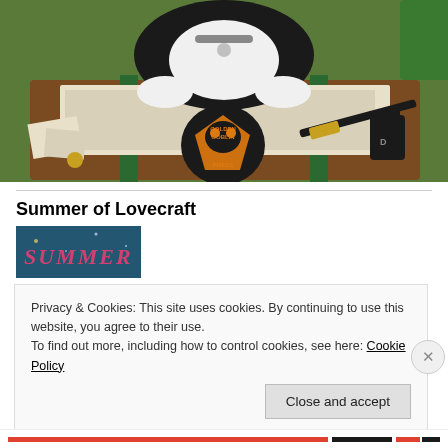[Figure (illustration): Illustrated image showing a cat with a collar lying on a large book, surrounded by papers, a quill pen, ink, and other items. A Golden Goblin Press logo (orange goblin face on black background) is visible in the center.]
Summer of Lovecraft
[Figure (illustration): Partial book cover image showing the word SUMMER in pink/red stylized text on a teal/dark background.]
Privacy & Cookies: This site uses cookies. By continuing to use this website, you agree to their use.
To find out more, including how to control cookies, see here: Cookie Policy
Close and accept